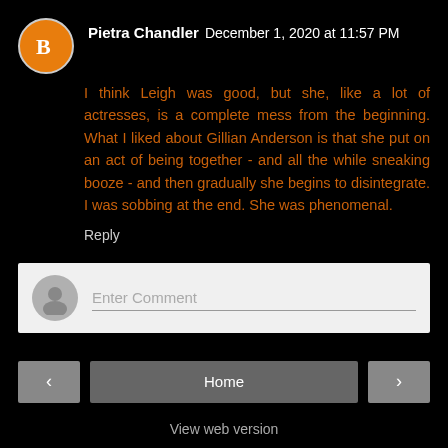Pietra Chandler December 1, 2020 at 11:57 PM
I think Leigh was good, but she, like a lot of actresses, is a complete mess from the beginning. What I liked about Gillian Anderson is that she put on an act of being together - and all the while sneaking booze - and then gradually she begins to disintegrate. I was sobbing at the end. She was phenomenal.
Reply
Enter Comment
Home
View web version
Powered by Blogger.